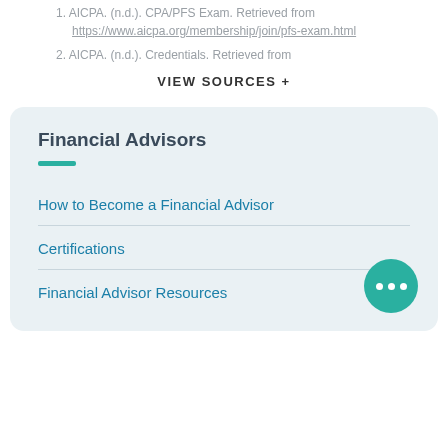1. AICPA. (n.d.). CPA/PFS Exam. Retrieved from https://www.aicpa.org/membership/join/pfs-exam.html
2. AICPA. (n.d.). Credentials. Retrieved from
VIEW SOURCES +
Financial Advisors
How to Become a Financial Advisor
Certifications
Financial Advisor Resources